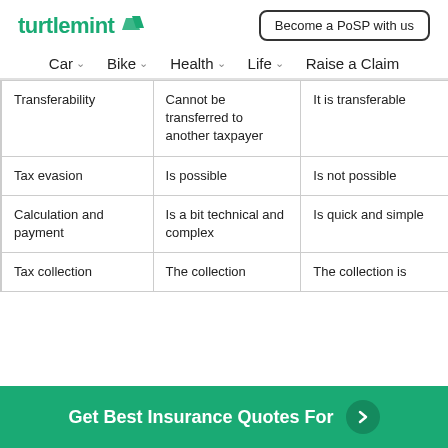turtlemint | Become a PoSP with us
Car  Bike  Health  Life  Raise a Claim
|  |  |  |
| --- | --- | --- |
| Transferability | Cannot be transferred to another taxpayer | It is transferable |
| Tax evasion | Is possible | Is not possible |
| Calculation and payment | Is a bit technical and complex | Is quick and simple |
| Tax collection | The collection | The collection is |
Get Best Insurance Quotes For